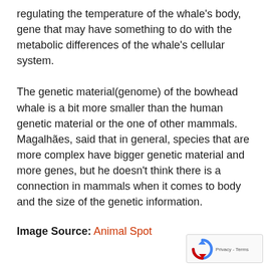regulating the temperature of the whale's body, gene that may have something to do with the metabolic differences of the whale's cellular system. The genetic material(genome) of the bowhead whale is a bit more smaller than the human genetic material or the one of other mammals. Magalhães, said that in general, species that are more complex have bigger genetic material and more genes, but he doesn't think there is a connection in mammals when it comes to body and the size of the genetic information.
Image Source: Animal Spot